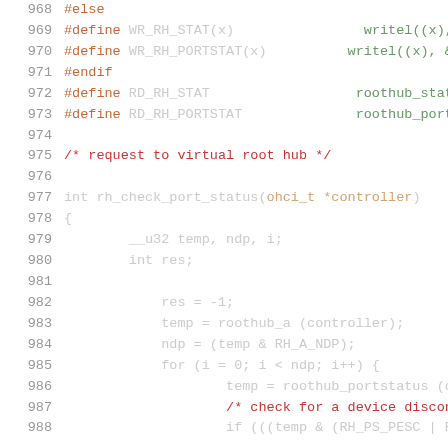Source code listing, lines 968–988, C programming language
968  #else
969  #define WR_RH_STAT(x)      writel((x), &go
970  #define WR_RH_PORTSTAT(x)  writel((x), &go
971  #endif
972  #define RD_RH_STAT         roothub_status(
973  #define RD_RH_PORTSTAT     roothub_portsta
974
975  /* request to virtual root hub */
976
977  int rh_check_port_status(ohci_t *controller)
978  {
979          __u32 temp, ndp, i;
980          int res;
981
982          res = -1;
983          temp = roothub_a (controller);
984          ndp = (temp & RH_A_NDP);
985          for (i = 0; i < ndp; i++) {
986                  temp = roothub_portstatus (cont
987                  /* check for a device disconnec
988                  if (((temp & (RH_PS_PESC | RH_P